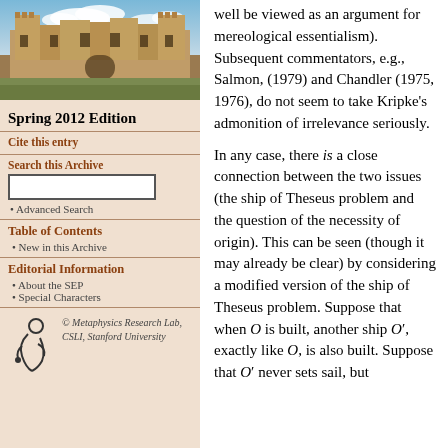[Figure (photo): Photo of a historic university building (sandstone architecture) with blue sky and clouds]
Spring 2012 Edition
Cite this entry
Search this Archive
Advanced Search
Table of Contents
New in this Archive
Editorial Information
About the SEP
Special Characters
© Metaphysics Research Lab, CSLI, Stanford University
well be viewed as an argument for mereological essentialism). Subsequent commentators, e.g., Salmon, (1979) and Chandler (1975, 1976), do not seem to take Kripke's admonition of irrelevance seriously.
In any case, there is a close connection between the two issues (the ship of Theseus problem and the question of the necessity of origin). This can be seen (though it may already be clear) by considering a modified version of the ship of Theseus problem. Suppose that when O is built, another ship O′, exactly like O, is also built. Suppose that O′ never sets sail, but